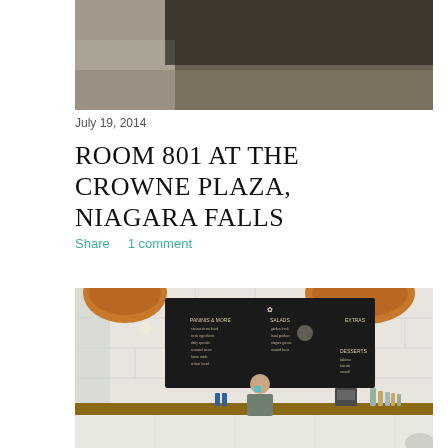[Figure (photo): Top partial photo of a café interior with dark ceiling/wall visible, cropped at top of page]
July 19, 2014
ROOM 801 AT THE CROWNE PLAZA, NIAGARA FALLS
Share    1 comment
[Figure (photo): Interior photo of a café/restaurant with white subway tile walls, two large woven pendant lights, a large chalkboard menu on the wall, and a barista/server standing behind the counter holding a cup, wearing an apron]